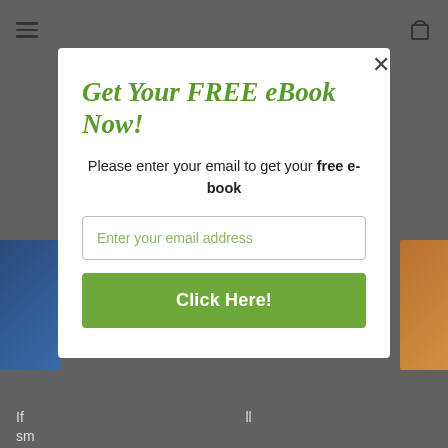[Figure (screenshot): Website background with dimmed overlay, showing partial navigation icons (hamburger menu, cart icon) and partially visible book cover images on left and right edges]
Get Your FREE eBook Now!
Please enter your email to get your free e-book
Enter your email address
Click Here!
If
sm